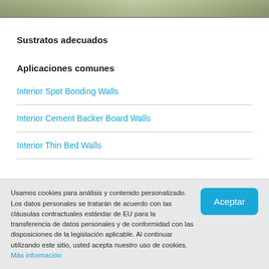[Figure (photo): Partial photo of a construction/building material surface, dark greenish/brown tones, appears to be a wall or floor material installation]
Sustratos adecuados
Aplicaciones comunes
Interior Spot Bonding Walls
Interior Cement Backer Board Walls
Interior Thin Bed Walls
Usamos cookies para análisis y contenido personalizado. Los datos personales se tratarán de acuerdo con las cláusulas contractuales estándar de EU para la transferencia de datos personales y de conformidad con las disposiciones de la legislación aplicable. Al continuar utilizando este sitio, usted acepta nuestro uso de cookies. Más información